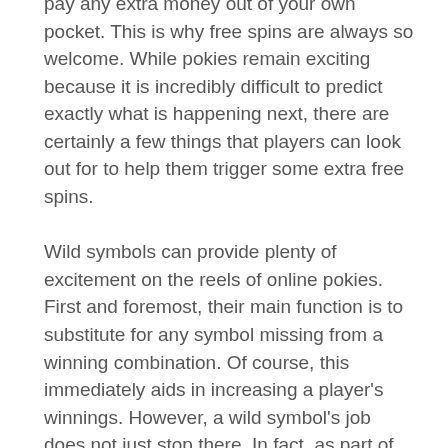pay any extra money out of your own pocket. This is why free spins are always so welcome. While pokies remain exciting because it is incredibly difficult to predict exactly what is happening next, there are certainly a few things that players can look out for to help them trigger some extra free spins.
Wild symbols can provide plenty of excitement on the reels of online pokies. First and foremost, their main function is to substitute for any symbol missing from a winning combination. Of course, this immediately aids in increasing a player's winnings. However, a wild symbol's job does not just stop there. In fact, as part of the bonus games, many pokies will award players a predetermined number of free spins if they are able to spin a combination that uses a wild symbol in order to secure a win.
It is important to note that while this is a popular practice, it is not commonplace, and whether or not players can benefit from this differs from casino to casino and sometimes even game to game.
Free spins in online pokies are fairly common, and players are almost guaranteed to benefit from them at some stage of their game. Overall,